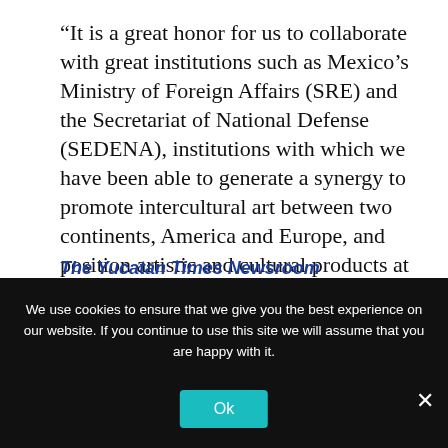“It is a great honor for us to collaborate with great institutions such as Mexico’s Ministry of Foreign Affairs (SRE) and the Secretariat of National Defense (SEDENA), institutions with which we have been able to generate a synergy to promote intercultural art between two continents, America and Europe, and position artistic and cultural products at a global level”.
The Yucatan Times Newsroom
We use cookies to ensure that we give you the best experience on our website. If you continue to use this site we will assume that you are happy with it.